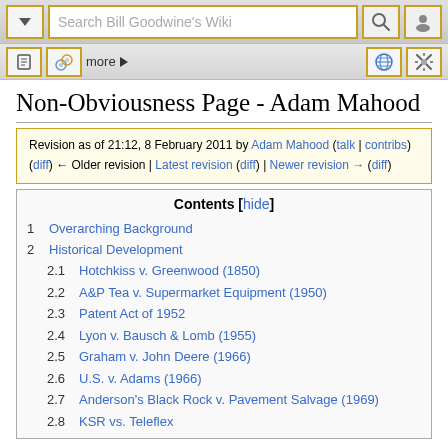Search Bill Goodwine's Wiki
Revision as of 21:12, 8 February 2011 by Adam Mahood (talk | contribs) (diff) ← Older revision | Latest revision (diff) | Newer revision → (diff)
Non-Obviousness Page - Adam Mahood
| Contents |
| --- |
| 1 Overarching Background |
| 2 Historical Development |
| 2.1 Hotchkiss v. Greenwood (1850) |
| 2.2 A&P Tea v. Supermarket Equipment (1950) |
| 2.3 Patent Act of 1952 |
| 2.4 Lyon v. Bausch & Lomb (1955) |
| 2.5 Graham v. John Deere (1966) |
| 2.6 U.S. v. Adams (1966) |
| 2.7 Anderson's Black Rock v. Pavement Salvage (1969) |
| 2.8 KSR vs. Teleflex |